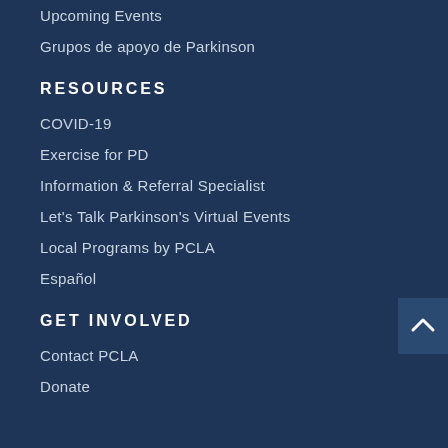Upcoming Events
Grupos de apoyo de Parkinson
RESOURCES
COVID-19
Exercise for PD
Information & Referral Specialist
Let's Talk Parkinson's Virtual Events
Local Programs by PCLA
Español
GET INVOLVED
Contact PCLA
Donate